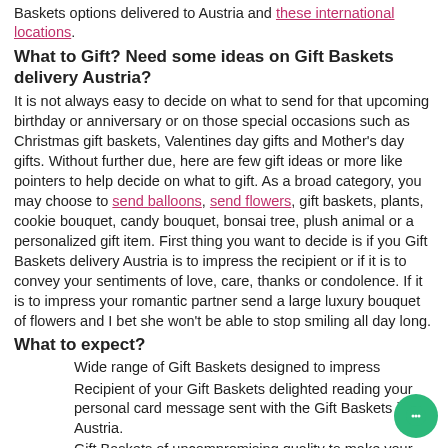Baskets options delivered to Austria and these international locations.
What to Gift? Need some ideas on Gift Baskets delivery Austria?
It is not always easy to decide on what to send for that upcoming birthday or anniversary or on those special occasions such as Christmas gift baskets, Valentines day gifts and Mother's day gifts. Without further due, here are few gift ideas or more like pointers to help decide on what to gift. As a broad category, you may choose to send balloons, send flowers, gift baskets, plants, cookie bouquet, candy bouquet, bonsai tree, plush animal or a personalized gift item. First thing you want to decide is if you Gift Baskets delivery Austria is to impress the recipient or if it is to convey your sentiments of love, care, thanks or condolence. If it is to impress your romantic partner send a large luxury bouquet of flowers and I bet she won't be able to stop smiling all day long.
What to expect?
Wide range of Gift Baskets designed to impress
Recipient of your Gift Baskets delighted reading your personal card message sent with the Gift Baskets in Austria.
Gift Baskets of uncompromising quality to make your Gift Baskets extraordinary
Receive same day delivery at many locations across Austria at no extra fees
Next-day delivery and Sunday Delivery option on many of the items (Enter the recipient's zipcode to view all delivery options.)
You may also like :
Gift Baskets Bolivia | Brazil | Gift Baskets Johnson Box | Personal Birthday Gift...